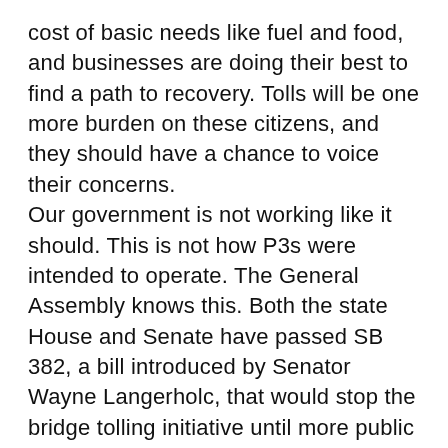cost of basic needs like fuel and food, and businesses are doing their best to find a path to recovery. Tolls will be one more burden on these citizens, and they should have a chance to voice their concerns.
Our government is not working like it should. This is not how P3s were intended to operate. The General Assembly knows this. Both the state House and Senate have passed SB 382, a bill introduced by Senator Wayne Langerholc, that would stop the bridge tolling initiative until more public notice and an opportunity to fully consider the impact of the projects is provided. The bill would also require PennDOT to get the approval of the legislature before